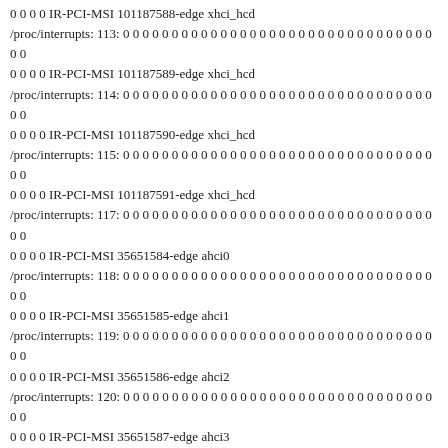0 0 0 0 IR-PCI-MSI 101187588-edge xhci_hcd
/proc/interrupts: 113: 0 0 0 0 0 0 0 0 0 0 0 0 0 0 0 0 0 0 0 0 0 0 0 0 0 0 0 0 0 0 0 0 0 0 0 IR-PCI-MSI 101187589-edge xhci_hcd
/proc/interrupts: 114: 0 0 0 0 0 0 0 0 0 0 0 0 0 0 0 0 0 0 0 0 0 0 0 0 0 0 0 0 0 0 0 0 0 0 0 IR-PCI-MSI 101187590-edge xhci_hcd
/proc/interrupts: 115: 0 0 0 0 0 0 0 0 0 0 0 0 0 0 0 0 0 0 0 0 0 0 0 0 0 0 0 0 0 0 0 0 0 0 0 IR-PCI-MSI 101187591-edge xhci_hcd
/proc/interrupts: 117: 0 0 0 0 0 0 0 0 0 0 0 0 0 0 0 0 0 0 0 0 0 0 0 0 0 0 0 0 0 0 0 0 0 0 0 IR-PCI-MSI 35651584-edge ahci0
/proc/interrupts: 118: 0 0 0 0 0 0 0 0 0 0 0 0 0 0 0 0 0 0 0 0 0 0 0 0 0 0 0 0 0 0 0 0 0 0 0 IR-PCI-MSI 35651585-edge ahci1
/proc/interrupts: 119: 0 0 0 0 0 0 0 0 0 0 0 0 0 0 0 0 0 0 0 0 0 0 0 0 0 0 0 0 0 0 0 0 0 0 0 IR-PCI-MSI 35651586-edge ahci2
/proc/interrupts: 120: 0 0 0 0 0 0 0 0 0 0 0 0 0 0 0 0 0 0 0 0 0 0 0 0 0 0 0 0 0 0 0 0 0 0 0 IR-PCI-MSI 35651587-edge ahci3
/proc/interrupts: 121: 0 0 0 0 0 0 0 0 0 0 0 0 0 0 0 0 0 0 0 0 0 0 0 0 0 0 0 0 0 0 0 0 0 0 0 IR-PCI-MSI 35651588-edge ahci4
/proc/interrupts: 122: 0 0 0 0 0 0 0 0 0 0 0 0 0 0 0 0 0 0 0 0 0 0 0 0 0 0 0 0 0 0 0 0 0 0 0 IR-PCI-MSI 35651589-edge ahci5
/proc/interrupts: 123: 0 0 0 0 0 0 0 0 0 0 0 0 0 0 0 0 0 0 0 0 0 0 0 0 0 0 0 0 0 0 0 0 0 0 0 IR-PCI-MSI 35651590-edge ahci6
/proc/interrupts: 124: 0 0 0 0 0 0 0 0 0 0 0 0 0 0 0 0 0 0 0 0 0 0 0 0 0 0 0 0 0 0 0 0 0 0 0 IR-PCI-MSI 35651591-edge ahci7